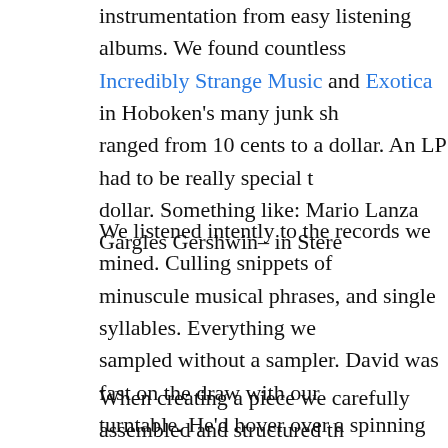instrumentation from easy listening albums. We found countless Incredibly Strange Music and Exotica in Hoboken's many junk shops, ranged from 10 cents to a dollar. An LP had to be really special to cost a dollar. Something like: Mario Lanza Gargles Gershwin– in Stereo!
We listened intently to the records we mined. Culling snippets of minuscule musical phrases, and single syllables. Everything we sampled without a sampler. David was fast on the draw with our turntable. He'd hover over a spinning platter, tone arm in hand– poised to punch the ree-cord button on our cheapie cassette dec three cheapie decks. Plus a stereo amp with cheapie speakers, headphones, and a Radio Shack four channel mixer. Four tracks out. Layer up and do it all over again. Toss in a few guitar effect we also used on samples and keyboards), a Roland analog mic synth/sequencer, a microphone, and me on vocals. That was ou wise. As for the creative process–
When creating a piece we carefully assembled and structured th then combined them through improvisation. We'd have a clear ic mood we wanted to create, how it should sound, and how the pi generally progress. But the road was open to inspiration. Instru